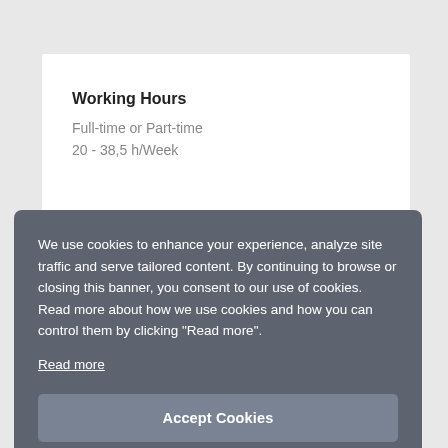Working Hours
Full-time or Part-time
20 - 38,5 h/Week
We use cookies to enhance your experience, analyze site traffic and serve tailored content. By continuing to browse or closing this banner, you consent to our use of cookies. Read more about how we use cookies and how you can control them by clicking “Read more”.
Read more
Accept Cookies